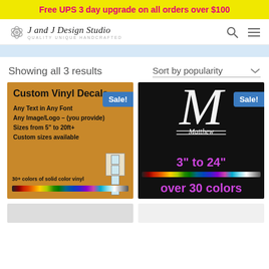Free UPS 3 day upgrade on all orders over $100
[Figure (logo): J and J Design Studio logo with flower icon and subtitle QUALITY UNIQUE HANDCRAFTED]
Showing all 3 results
Sort by popularity
[Figure (photo): Custom Vinyl Decals product image with text: Any Text in Any Font, Any Image/Logo - (you provide), Sizes from 5" to 20ft+, Custom sizes available, 30+ colors of solid color vinyl. Sale badge shown.]
[Figure (photo): Monogram letter M with name Matthew, 3" to 24", over 30 colors on black background. Sale badge shown.]
[Figure (photo): Partial product thumbnail at bottom left]
[Figure (photo): Partial product thumbnail at bottom right]